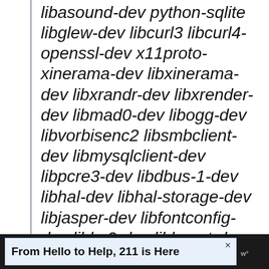libasound-dev python-sqlite libglew-dev libcurl3 libcurl4-openssl-dev x11proto-xinerama-dev libxinerama-dev libxrandr-dev libxrender-dev libmad0-dev libogg-dev libvorbisenc2 libsmbclient-dev libmysqlclient-dev libpcre3-dev libdbus-1-dev libhal-dev libhal-storage-dev libjasper-dev libfontconfig-dev libbz2-dev libboost-dev libfaac-dev
From Hello to Help, 211 is Here